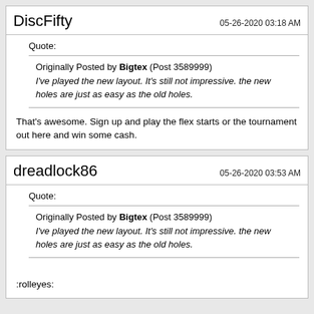DiscFifty   05-26-2020 03:18 AM
Quote:
Originally Posted by Bigtex (Post 3589999)
I've played the new layout. It's still not impressive. the new holes are just as easy as the old holes.
That's awesome. Sign up and play the flex starts or the tournament out here and win some cash.
dreadlock86   05-26-2020 03:53 AM
Quote:
Originally Posted by Bigtex (Post 3589999)
I've played the new layout. It's still not impressive. the new holes are just as easy as the old holes.
:rolleyes: